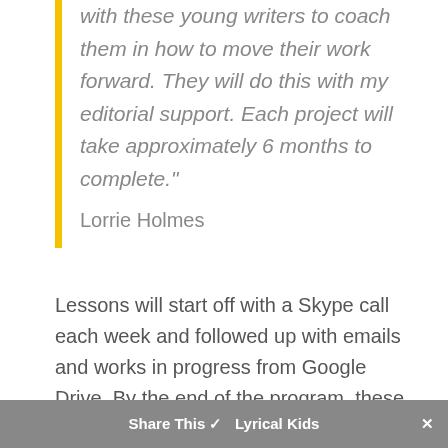with these young writers to coach them in how to move their work forward. They will do this with my editorial support. Each project will take approximately 6 months to complete."
Lorrie Holmes
Lessons will start off with a Skype call each week and followed up with emails and works in progress from Google Drive. By the end of the program, these young writers will have their books and/or graphic novels p... at Lyrical Kids
Share This ✓  Lyrical Kids